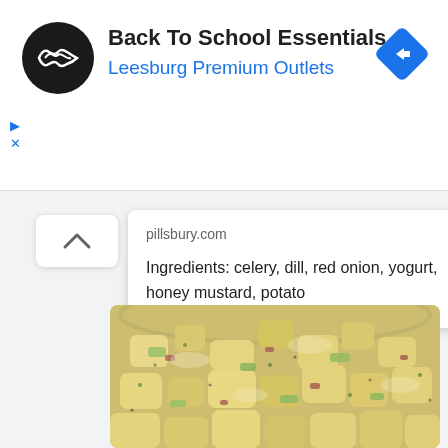[Figure (screenshot): Ad banner: Back To School Essentials by Leesburg Premium Outlets with logo and navigation icon]
Back To School Essentials
Leesburg Premium Outlets
[Figure (screenshot): Popup tooltip card showing pillsbury.com with ingredients: celery, dill, red onion, yogurt, honey mustard, potato]
pillsbury.com
Ingredients: celery, dill, red onion, yogurt, honey mustard, potato
[Figure (photo): Close-up photo of potato salad in a glass bowl, showing chunky potatoes, celery, red onion, and dill in a creamy dressing]